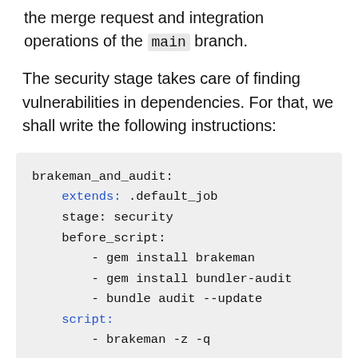the merge request and integration operations of the main branch.
The security stage takes care of finding vulnerabilities in dependencies. For that, we shall write the following instructions:
brakeman_and_audit:
    extends: .default_job
    stage: security
    before_script:
        - gem install brakeman
        - gem install bundler-audit
        - bundle audit --update
    script:
        - brakeman -z -q